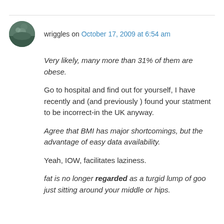wriggles on October 17, 2009 at 6:54 am
Very likely, many more than 31% of them are obese.
Go to hospital and find out for yourself, I have recently and (and previously ) found your statment to be incorrect-in the UK anyway.
Agree that BMI has major shortcomings, but the advantage of easy data availability.
Yeah, IOW, facilitates laziness.
fat is no longer regarded as a turgid lump of goo just sitting around your middle or hips.